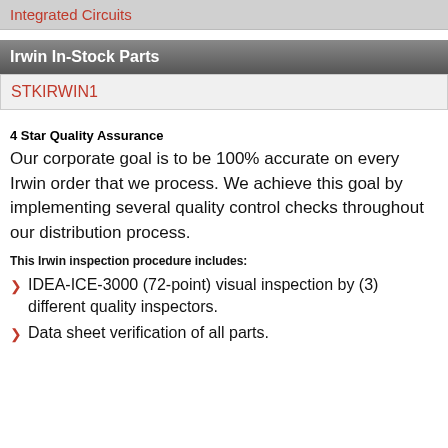Integrated Circuits
Irwin In-Stock Parts
STKIRWIN1
4 Star Quality Assurance
Our corporate goal is to be 100% accurate on every Irwin order that we process. We achieve this goal by implementing several quality control checks throughout our distribution process.
This Irwin inspection procedure includes:
IDEA-ICE-3000 (72-point) visual inspection by (3) different quality inspectors.
Data sheet verification of all parts.